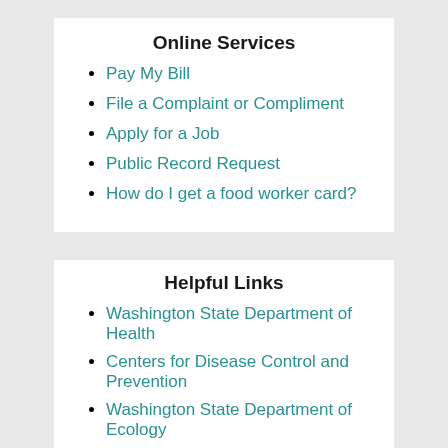Online Services
Pay My Bill
File a Complaint or Compliment
Apply for a Job
Public Record Request
How do I get a food worker card?
Helpful Links
Washington State Department of Health
Centers for Disease Control and Prevention
Washington State Department of Ecology
Guide to Community Services Bullseye
MMR Exemption Law Change Info